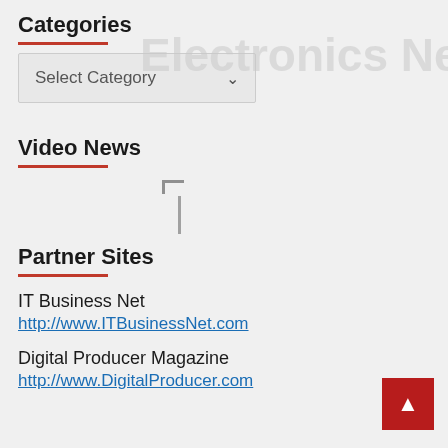Categories
Electronics Net
Select Category
Video News
[Figure (other): Broken image placeholder icon]
Partner Sites
IT Business Net
http://www.ITBusinessNet.com
Digital Producer Magazine
http://www.DigitalProducer.com